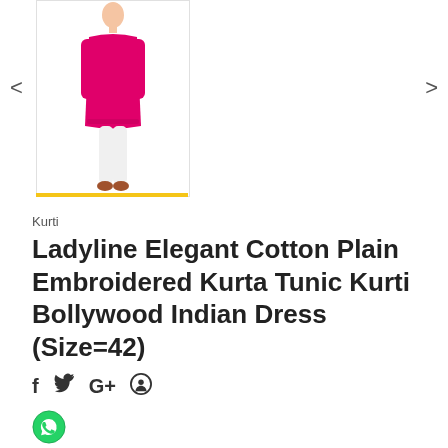[Figure (photo): A woman wearing a pink/magenta Kurti dress, shown from shoulders down, with white leggings, product photo on white background]
Kurti
Ladyline Elegant Cotton Plain Embroidered Kurta Tunic Kurti Bollywood Indian Dress (Size=42)
[Figure (other): Social media share icons: Facebook (f), Twitter bird, Google+ (G+), Pinterest (P)]
[Figure (other): WhatsApp share button (green circle with phone icon)]
Vendor:   Ladyline
Category:   Cotton Kurtis, Kurtis
Beautiful Pure Cotton kurta in Plain with elegant embroidery in matching at neckline along with the bottom on front same as shown in the picture.